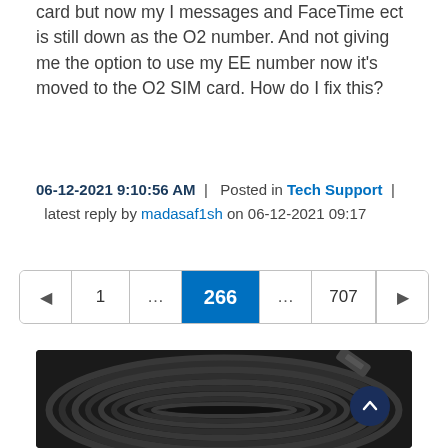card but now my I messages and FaceTime ect is still down as the O2 number. And not giving me the option to use my EE number now it's moved to the O2 SIM card. How do I fix this?
06-12-2021 9:10:56 AM  |  Posted in Tech Support  |  latest reply by madasaf1sh on 06-12-2021 09:17
[Figure (other): Pagination control showing pages: left arrow, 1, ..., 266 (active/highlighted in blue), ..., 707, right arrow]
[Figure (photo): Close-up photo of coiled black cable or wire against a dark background, with a circular object visible]